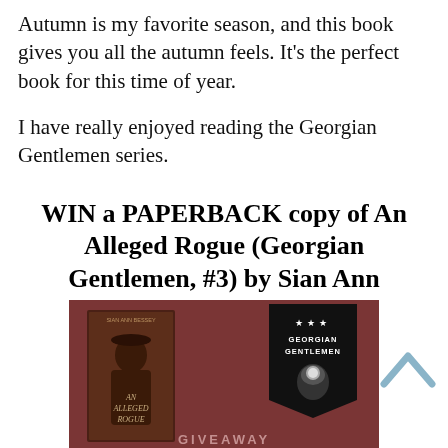Autumn is my favorite season, and this book gives you all the autumn feels. It's the perfect book for this time of year.

I have really enjoyed reading the Georgian Gentlemen series.
WIN a PAPERBACK copy of An Alleged Rogue (Georgian Gentlemen, #3) by Sian Ann Bessey (US addresses only)
[Figure (photo): Book cover image for 'An Alleged Rogue' by Sian Ann Bessey with a Georgian Gentlemen series badge/pennant and a GIVEAWAY banner at the bottom. The background is dark red/mauve.]